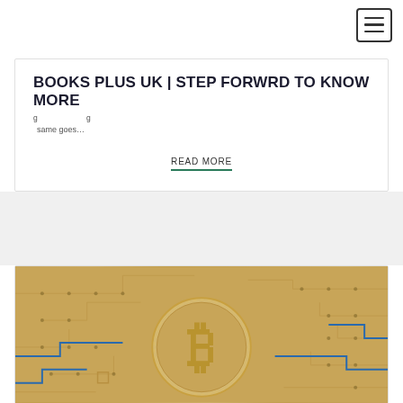BOOKS PLUS UK | STEP FORWRD TO KNOW MORE
same goes...
READ MORE
[Figure (photo): Bitcoin gold coin on a circuit board background with blue circuit traces]